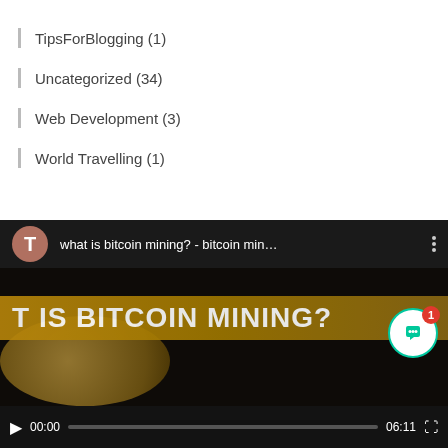TipsForBlogging (1)
Uncategorized (34)
Web Development (3)
World Travelling (1)
[Figure (screenshot): Embedded video player showing 'what is bitcoin mining? - bitcoin min...' with thumbnail displaying 'T IS BITCOIN MINING?' banner, video controls showing 00:00 / 06:11, and a chat widget with badge showing 1]